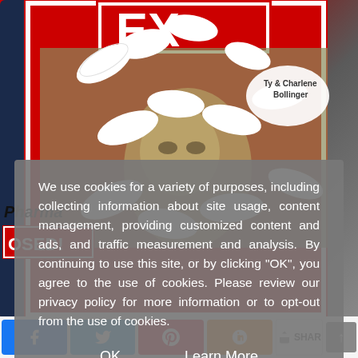[Figure (photo): Magazine cover showing pills on top of US dollar bills with text 'EX...' and 'Ty & Charlene Bollinger', alongside text 'Pharma POSED!' — a social media/website screenshot with a cookie consent overlay and social sharing buttons at the bottom.]
We use cookies for a variety of purposes, including collecting information about site usage, content management, providing customized content and ads, and traffic measurement and analysis. By continuing to use this site, or by clicking "OK", you agree to the use of cookies. Please review our privacy policy for more information or to opt-out from the use of cookies.
OK
Learn More